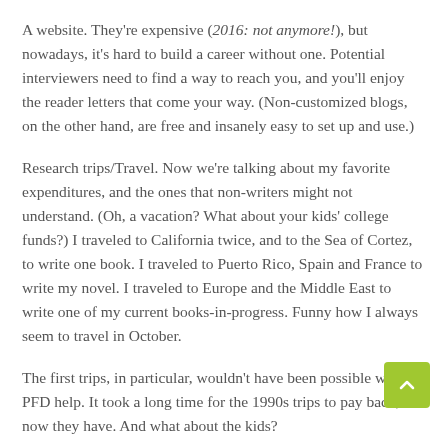A website. They're expensive (2016: not anymore!), but nowadays, it's hard to build a career without one. Potential interviewers need to find a way to reach you, and you'll enjoy the reader letters that come your way. (Non-customized blogs, on the other hand, are free and insanely easy to set up and use.)
Research trips/Travel. Now we're talking about my favorite expenditures, and the ones that non-writers might not understand. (Oh, a vacation? What about your kids' college funds?) I traveled to California twice, and to the Sea of Cortez, to write one book. I traveled to Puerto Rico, Spain and France to write my novel. I traveled to Europe and the Middle East to write one of my current books-in-progress. Funny how I always seem to travel in October.
The first trips, in particular, wouldn't have been possible without PFD help. It took a long time for the 1990s trips to pay back, but now they have. And what about the kids?